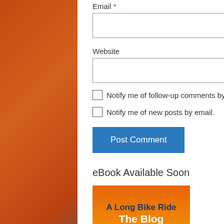Email *
Website
Notify me of follow-up comments by email.
Notify me of new posts by email.
Post Comment
eBook Available Soon
[Figure (illustration): Book cover: 'A Long Bike Ride The Blog Entries' by Gary Hewitt-Long, orange/yellow gradient background with green map silhouette]